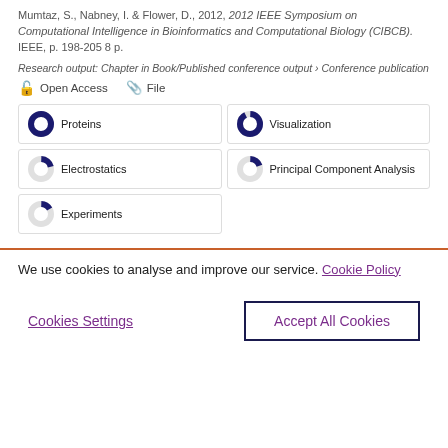Mumtaz, S., Nabney, I. & Flower, D., 2012, 2012 IEEE Symposium on Computational Intelligence in Bioinformatics and Computational Biology (CIBCB). IEEE, p. 198-205 8 p.
Research output: Chapter in Book/Published conference output › Conference publication
Open Access   File
Proteins
Visualization
Electrostatics
Principal Component Analysis
Experiments
We use cookies to analyse and improve our service. Cookie Policy
Cookies Settings
Accept All Cookies